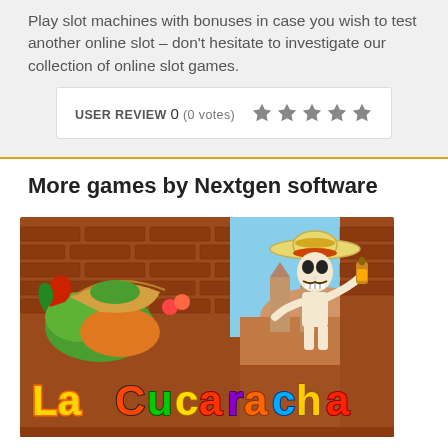Play slot machines with bonuses in case you wish to test another online slot – don't hesitate to investigate our collection of online slot games.
USER REVIEW 0 (0 votes)
More games by Nextgen software
[Figure (photo): La Cucaracha slot game promotional image showing colorful cartoon characters including a skeleton wearing a sombrero holding a drink, surrounded by tacos, peppers, and other Mexican-themed food items, with the text 'La Cucaracha' displayed prominently at the bottom in colorful letters against a brick wall background.]